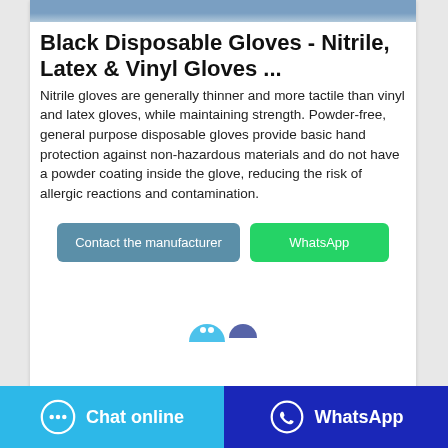[Figure (photo): Partial product image showing blue/grey nitrile gloves at top]
Black Disposable Gloves - Nitrile, Latex & Vinyl Gloves ...
Nitrile gloves are generally thinner and more tactile than vinyl and latex gloves, while maintaining strength. Powder-free, general purpose disposable gloves provide basic hand protection against non-hazardous materials and do not have a powder coating inside the glove, reducing the risk of allergic reactions and contamination.
[Figure (screenshot): Two buttons: 'Contact the manufacturer' (blue-grey) and 'WhatsApp' (green)]
[Figure (screenshot): Partial icons at the bottom of the card area]
Chat online   WhatsApp